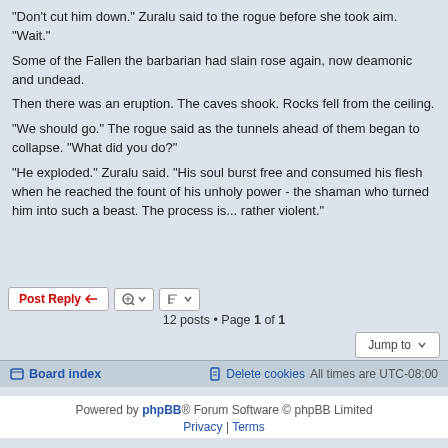"Don't cut him down." Zuralu said to the rogue before she took aim. "Wait."
Some of the Fallen the barbarian had slain rose again, now deamonic and undead.
Then there was an eruption. The caves shook. Rocks fell from the ceiling.
"We should go." The rogue said as the tunnels ahead of them began to collapse. "What did you do?"
"He exploded." Zuralu said. "His soul burst free and consumed his flesh when he reached the fount of his unholy power - the shaman who turned him into such a beast. The process is... rather violent."
12 posts • Page 1 of 1
Board index   Delete cookies   All times are UTC-08:00
Powered by phpBB® Forum Software © phpBB Limited
Privacy | Terms